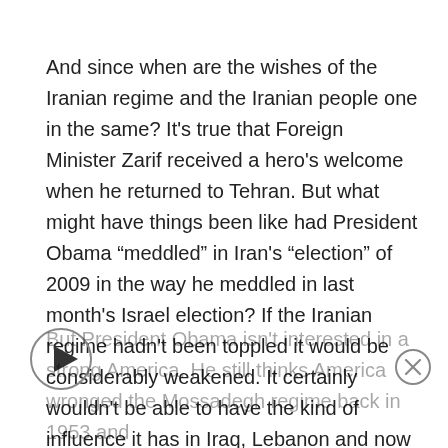And since when are the wishes of the Iranian regime and the Iranian people one in the same? It's true that Foreign Minister Zarif received a hero's welcome when he returned to Tehran. But what might have things been like had President Obama “meddled” in Iran's “election” of 2009 in the way he meddled in last month's Israel election? If the Iranian regime hadn't been toppled it would be considerably weakened. It certainly wouldn't be able to have the kind of influence it has in Iraq, Lebanon and now Yemen. Our position at the bargaining table would have been far stronger.
But President Obama isn't interested in a strong America. He still thinks America wronged the Mossadegh regime back in 1953 and...